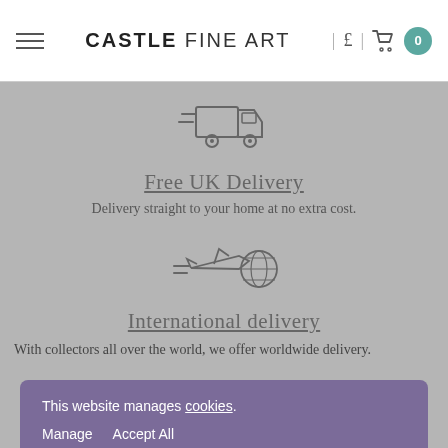CASTLE FINE ART | £ | 0
[Figure (illustration): Delivery truck icon with speed lines, outline style]
Free UK Delivery
Delivery straight to your home at no extra cost.
[Figure (illustration): Airplane with globe icon with speed lines, outline style]
International delivery
With collectors all over the world, we offer worldwide delivery.
This website manages cookies. Manage   Accept All
Collect in gallery